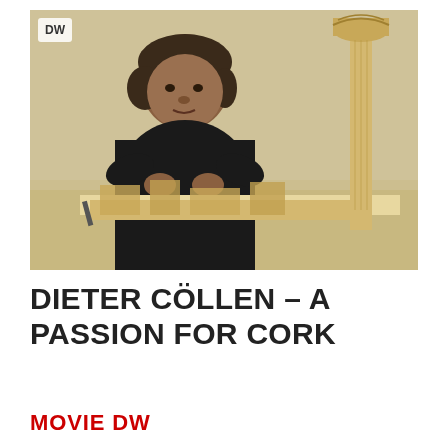[Figure (photo): A man in a black t-shirt sitting at a table working on a cork model of ancient ruins/architecture. A tall cork column is visible on the right side. A DW logo is visible in the upper left corner of the image.]
DIETER CÖLLEN – A PASSION FOR CORK
MOVIE DW